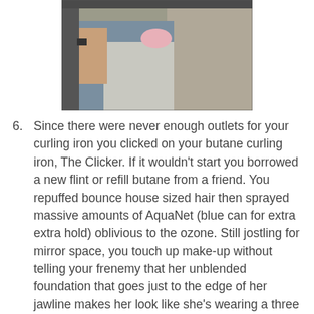[Figure (photo): A person sitting, wearing jeans and a light shirt, handling something, with a concrete or stone background visible.]
6. Since there were never enough outlets for your curling iron you clicked on your butane curling iron, The Clicker. If it wouldn't start you borrowed a new flint or refill butane from a friend. You repuffed bounce house sized hair then sprayed massive amounts of AquaNet (blue can for extra extra hold) oblivious to the ozone. Still jostling for mirror space, you touch up make-up without telling your frenemy that her unblended foundation that goes just to the edge of her jawline makes her look like she's wearing a three